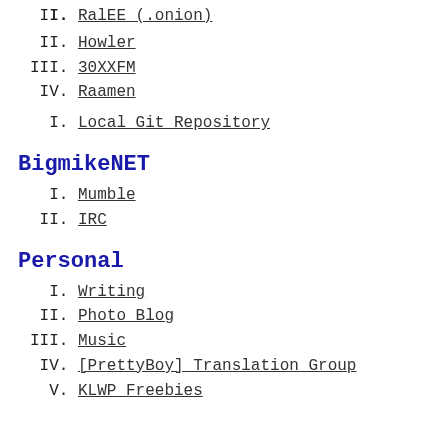I. RalEE (.onion)
II. Howler
III. 30XXFM
IV. Raamen
I. Local Git Repository
BigmikeNET
I. Mumble
II. IRC
Personal
I. Writing
II. Photo Blog
III. Music
IV. [PrettyBoy] Translation Group
V. KLWP Freebies